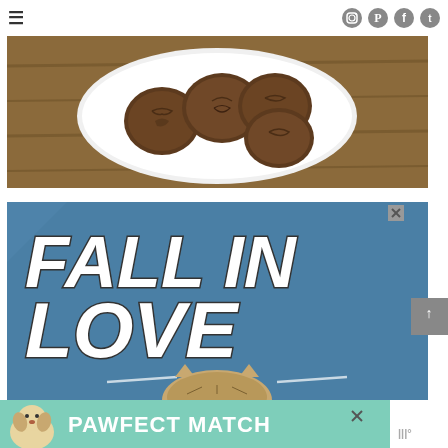≡  [Instagram] [Pinterest] [Facebook] [Twitter]
[Figure (photo): Chocolate stamped cookies arranged on a white plate, viewed from above on a wooden surface]
[Figure (infographic): Advertisement with blue background and bold white italic text reading FALL IN LOVE with a cat peeking from below, with an X close button in the top right]
[Figure (infographic): Bottom banner advertisement with teal background showing a dog illustration and text PAWFECT MATCH with an X close button]